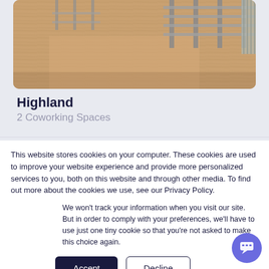[Figure (photo): Interior photo of a coworking space showing a wooden floor and metal chairs/shelving in the background]
Highland
2 Coworking Spaces
This website stores cookies on your computer. These cookies are used to improve your website experience and provide more personalized services to you, both on this website and through other media. To find out more about the cookies we use, see our Privacy Policy.
We won't track your information when you visit our site. But in order to comply with your preferences, we'll have to use just one tiny cookie so that you're not asked to make this choice again.
[Figure (other): Accept and Decline cookie consent buttons, plus a chat bubble icon]